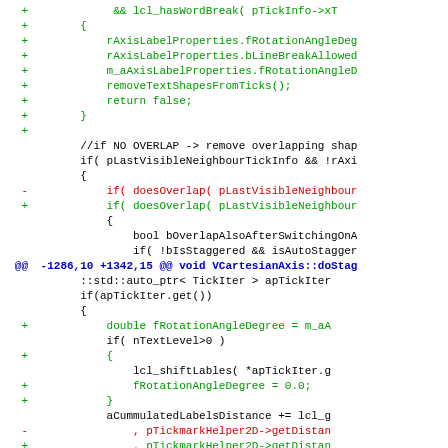[Figure (screenshot): A code diff view showing C++ source code changes with git diff format. Green lines with + prefix show additions, red lines with - prefix show deletions, blue lines show hunk headers. The code involves axis label properties, overlap detection, and stagger logic for a Cartesian axis chart component.]